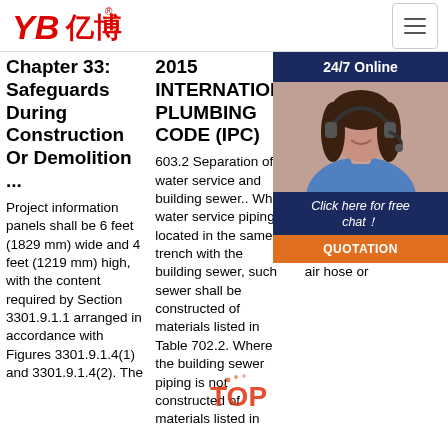YB亿博 logo and navigation
Chapter 33: Safeguards During Construction Or Demolition ...
Project information panels shall be 6 feet (1829 mm) wide and 4 feet (1219 mm) high, with the content required by Section 3301.9.1.1 arranged in accordance with Figures 3301.9.1.4(1) and 3301.9.1.4(2). The
2015 INTERNATIONAL PLUMBING CODE (IPC)
603.2 Separation of water service and building sewer.. Where water service piping is located in the same trench with the building sewer, such sewer shall be constructed of materials listed in Table 702.2. Where the building sewer piping is not constructed of materials listed in
Occupational Safety And Health Re 1900
202 30u par con be f acc standard100. ... 5.16.Report of r. 5.15 assessment, when required etc.233. ... by means of an air line, air hose or
[Figure (photo): Chat widget overlay with woman wearing headset, dark blue header '24/7 Online', prompt 'Click here for free chat!', and orange QUOTATION button]